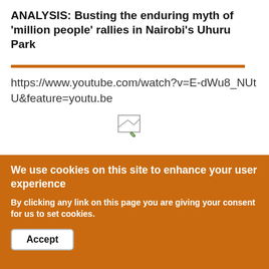ANALYSIS: Busting the enduring myth of 'million people' rallies in Nairobi's Uhuru Park
https://www.youtube.com/watch?v=E-dWu8_NUtU&feature=youtu.be
[Figure (other): Broken/loading image placeholder icon]
Share
We use cookies on this site to enhance your user experience
By clicking any link on this page you are giving your consent for us to set cookies.
Accept